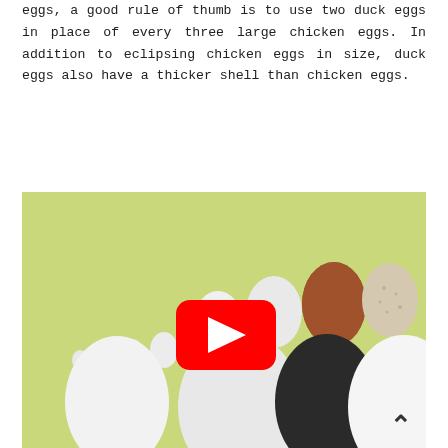eggs, a good rule of thumb is to use two duck eggs in place of every three large chicken eggs. In addition to eclipsing chicken eggs in size, duck eggs also have a thicker shell than chicken eggs.
[Figure (photo): Photograph of various eggs of different sizes and colors arranged on a green-yellow background, including small white eggs, medium white and brown eggs, a dark/black egg, and large white eggs. A YouTube play button overlay is visible in the center of the image, and an upward chevron arrow is in the bottom right.]